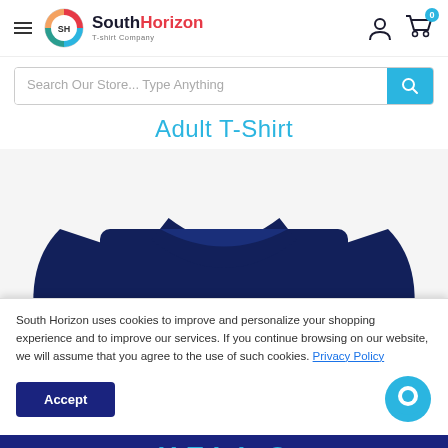South Horizon T-shirt Company — navigation header with hamburger menu, logo, user icon, cart (0)
Search Our Store... Type Anything
Adult T-Shirt
[Figure (photo): Navy blue adult t-shirt with a small white graphic/logo print on the chest, shown from the front upper half]
South Horizon uses cookies to improve and personalize your shopping experience and to improve our services. If you continue browsing on our website, we will assume that you agree to the use of such cookies. Privacy Policy
Accept
HELL— (partial text visible at bottom of page, cut off)